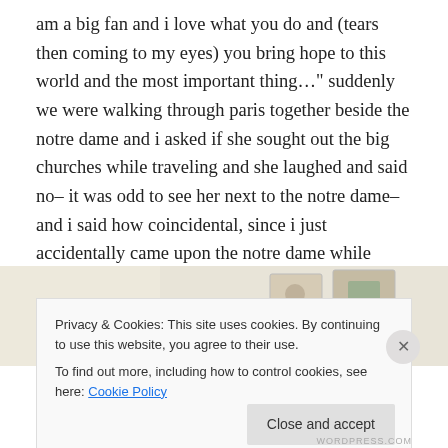am a big fan and i love what you do and (tears then coming to my eyes) you bring hope to this world and the most important thing…" suddenly we were walking through paris together beside the notre dame and i asked if she sought out the big churches while traveling and she laughed and said no– it was odd to see her next to the notre dame– and i said how coincidental, since i just accidentally came upon the notre dame while walking through paris with leanne.
[Figure (photo): Partial view of what appears to be a flat lay photo with light colored items on a cream/beige background]
Privacy & Cookies: This site uses cookies. By continuing to use this website, you agree to their use.
To find out more, including how to control cookies, see here: Cookie Policy
Close and accept